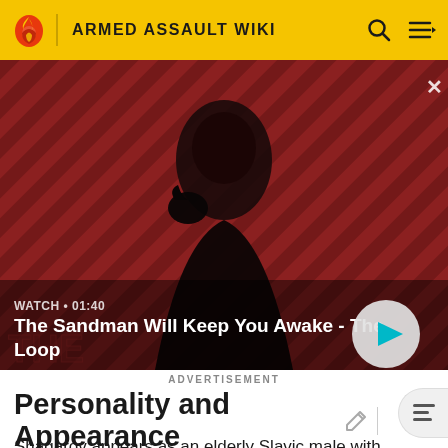ARMED ASSAULT WIKI
[Figure (screenshot): Video banner showing a dark-cloaked figure with a raven on their shoulder against a red and black diagonal stripe background. Title reads 'The Sandman Will Keep You Awake - The Loop'. Watch time shown as 01:40. Play button visible.]
ADVERTISEMENT
Personality and Appearance
Shagarov appears as an elderly Slavic male with greying light brown hair. He wears the standard attire of a Russian